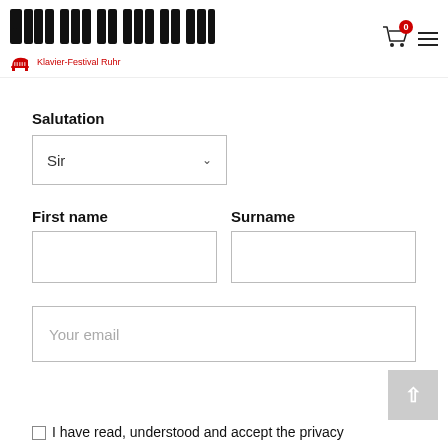[Figure (logo): Klavier-Festival Ruhr logo with stylized black piano keys and red grand piano icon with text 'Klavier-Festival Ruhr']
Salutation
Sir (dropdown select)
First name
Surname
Your email (input placeholder)
I have read, understood and accept the privacy